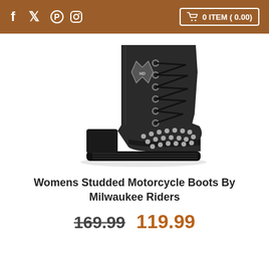f t pinterest instagram | 0 ITEM ( 0.00)
[Figure (photo): Black women's studded motorcycle boot with lace-up design, block heel, silver stud embellishments on the toe cap, and a metallic badge on the upper shaft.]
Womens Studded Motorcycle Boots By Milwaukee Riders
169.99  119.99